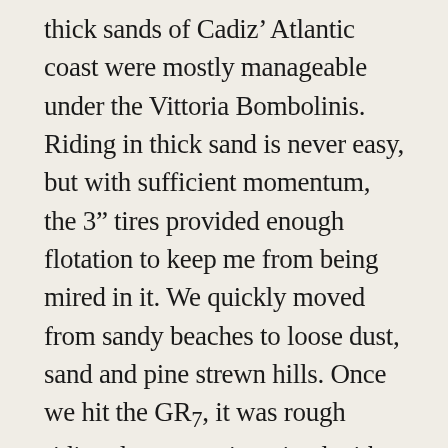thick sands of Cadiz' Atlantic coast were mostly manageable under the Vittoria Bombolinis. Riding in thick sand is never easy, but with sufficient momentum, the 3" tires provided enough flotation to keep me from being mired in it. We quickly moved from sandy beaches to loose dust, sand and pine strewn hills. Once we hit the GR7, it was rough riding, loose granite mixed with larger boulders, deeply rutted and partially washed out tracks. We saw our fair share of smooth climbing pisté (gravel) but interspersed it with pebbly goat tracks littered in dried olives. We enjoyed some nice, rooty east coast style dirt and fine sandy washes as well. Through it all, the Dragonslayer